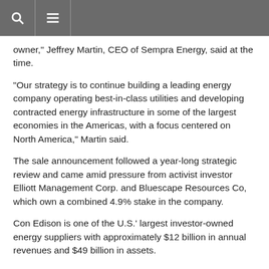Navigation bar with search and menu icons
owner," Jeffrey Martin, CEO of Sempra Energy, said at the time.
"Our strategy is to continue building a leading energy company operating best-in-class utilities and developing contracted energy infrastructure in some of the largest economies in the Americas, with a focus centered on North America," Martin said.
The sale announcement followed a year-long strategic review and came amid pressure from activist investor Elliott Management Corp. and Bluescape Resources Co, which own a combined 4.9% stake in the company.
Con Edison is one of the U.S.' largest investor-owned energy suppliers with approximately $12 billion in annual revenues and $49 billion in assets.
UK industry could save 540 million pounds using small-scale renewables
UK industry could save some 540 million pounds ($708.1 million) in